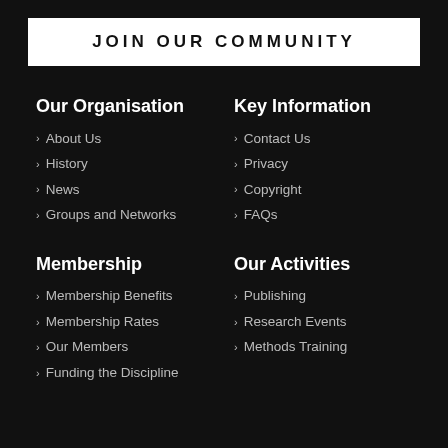JOIN OUR COMMUNITY
Our Organisation
About Us
History
News
Groups and Networks
Key Information
Contact Us
Privacy
Copyright
FAQs
Membership
Membership Benefits
Membership Rates
Our Members
Funding the Discipline
Our Activities
Publishing
Research Events
Methods Training